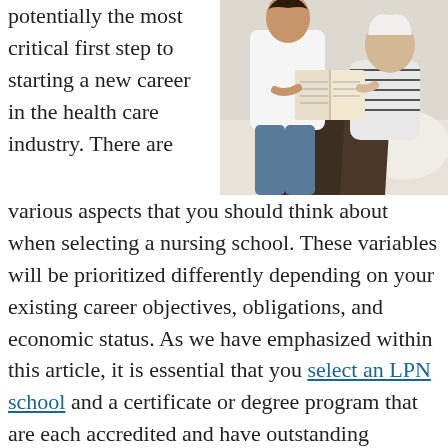[Figure (photo): A caregiver or nurse sitting with an elderly patient, reading a book together. The elderly person is on a bed/couch.]
potentially the most critical first step to starting a new career in the health care industry. There are various aspects that you should think about when selecting a nursing school. These variables will be prioritized differently depending on your existing career objectives, obligations, and economic status. As we have emphasized within this article, it is essential that you select an LPN school and a certificate or degree program that are each accredited and have outstanding reputations within the medical community. You originally decided to visit this website because of an interest in LPN Degree Program. However, by utilizing our list of qualifying questions, you will be able to produce a shortlist of schools to pick from so that you can make your final selection. And with the right degree and training, combined with your dedication and drive to succeed, you can become